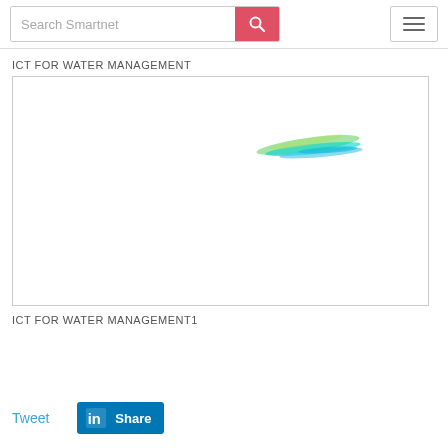Search Smartnet
ICT FOR WATER MANAGEMENT
[Figure (illustration): White box with faint colourful brush strokes (green, cyan, blue) in the upper right area, representing an image placeholder for ICT for Water Management.]
ICT FOR WATER MANAGEMENT1
Tweet   Share